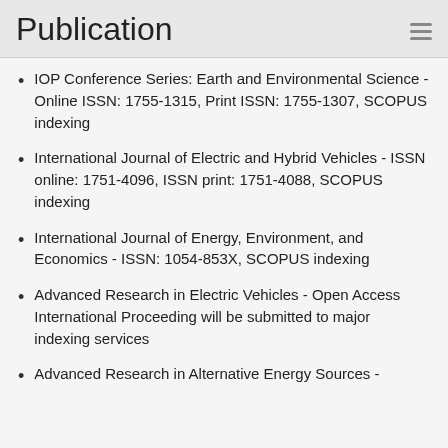Publication
IOP Conference Series: Earth and Environmental Science - Online ISSN: 1755-1315, Print ISSN: 1755-1307, SCOPUS indexing
International Journal of Electric and Hybrid Vehicles - ISSN online: 1751-4096, ISSN print: 1751-4088, SCOPUS indexing
International Journal of Energy, Environment, and Economics - ISSN: 1054-853X, SCOPUS indexing
Advanced Research in Electric Vehicles - Open Access International Proceeding will be submitted to major indexing services
Advanced Research in Alternative Energy Sources -